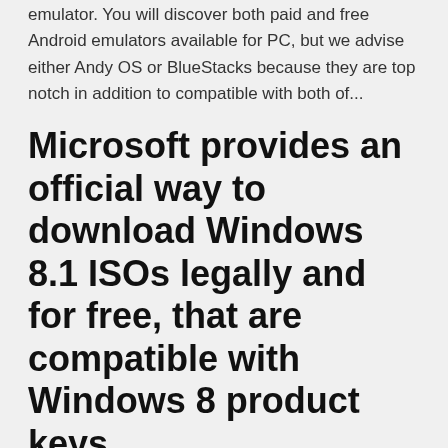emulator. You will discover both paid and free Android emulators available for PC, but we advise either Andy OS or BlueStacks because they are top notch in addition to compatible with both of...
Microsoft provides an official way to download Windows 8.1 ISOs legally and for free, that are compatible with Windows 8 product keys.
Download Utorrent For Windows - Best Software & Apps Free beta torrent software. PROS: Free download; CONS: Unstable. 8. Download. uTorrent Beta for Windows · uTorrent Beta for Torrent Player PROVaries with device. License: free  windows 8.1 product key 2019 | windows 8.1 product key | windows 8.1